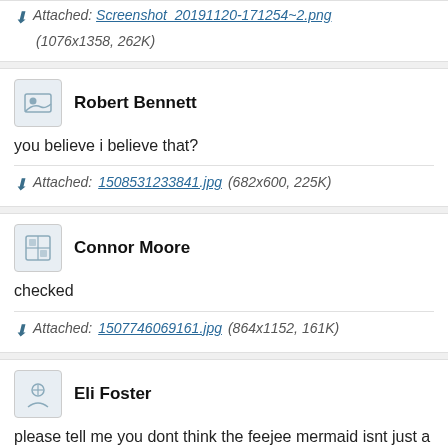Attached: Screenshot_20191120-171254~2.png (1076x1358, 262K)
Robert Bennett
you believe i believe that?
Attached: 1508531233841.jpg (682x600, 225K)
Connor Moore
checked
Attached: 1507746069161.jpg (864x1152, 161K)
Eli Foster
please tell me you dont think the feejee mermaid isnt just a fish and monkey corpse put together used for a carnival scam.